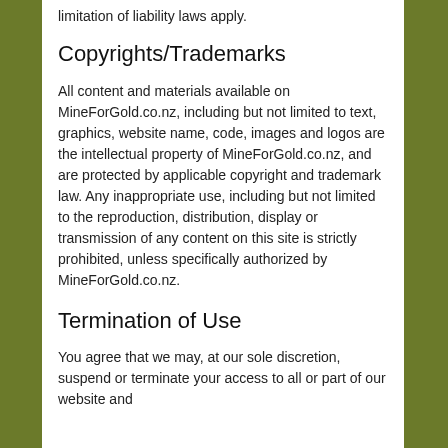limitation of liability laws apply.
Copyrights/Trademarks
All content and materials available on MineForGold.co.nz, including but not limited to text, graphics, website name, code, images and logos are the intellectual property of MineForGold.co.nz, and are protected by applicable copyright and trademark law. Any inappropriate use, including but not limited to the reproduction, distribution, display or transmission of any content on this site is strictly prohibited, unless specifically authorized by MineForGold.co.nz.
Termination of Use
You agree that we may, at our sole discretion, suspend or terminate your access to all or part of our website and